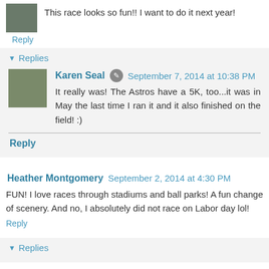This race looks so fun!! I want to do it next year!
Reply
▼ Replies
Karen Seal
September 7, 2014 at 10:38 PM
It really was! The Astros have a 5K, too...it was in May the last time I ran it and it also finished on the field! :)
Reply
Heather Montgomery
September 2, 2014 at 4:30 PM
FUN! I love races through stadiums and ball parks! A fun change of scenery. And no, I absolutely did not race on Labor day lol!
Reply
▼ Replies